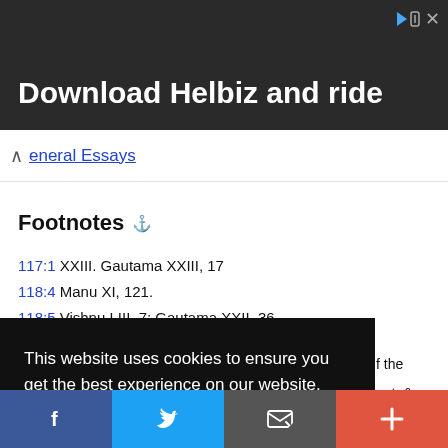[Figure (screenshot): Advertisement banner showing 'Download Helbiz and ride' with a dark urban background and people on scooters]
General Essays
Footnotes
117:1 XXIII. Gautama XXIII, 17
118:4 Manu XI, 121.
118:5 Vishnu LIII, 7; Gautama XXII, 36.
118:6 Vishnu LIII, 3; Gautama XXIII, 12.
This website uses cookies to ensure you get the best experience on our website.
Got it!